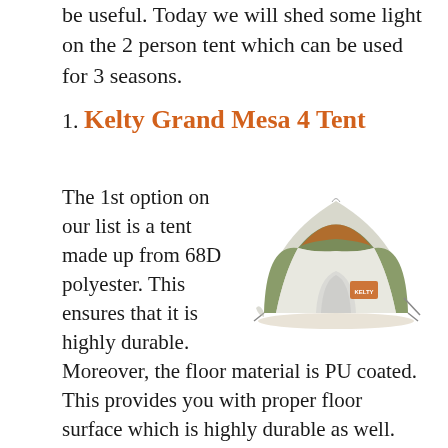be useful. Today we will shed some light on the 2 person tent which can be used for 3 seasons.
1. Kelty Grand Mesa 4 Tent
[Figure (photo): Photo of a Kelty Grand Mesa 4 tent — a dome-style camping tent with green and white coloring and orange accents, shown pitched from a side-angle view.]
The 1st option on our list is a tent made up from 68D polyester. This ensures that it is highly durable. Moreover, the floor material is PU coated. This provides you with proper floor surface which is highly durable as well. Also, the tent is pretty easy to install. This makes it easier for you to set it up wherever you want. It can handle rain quite easily. It can handle moderate level winds as well. It can also handle that kind of ...